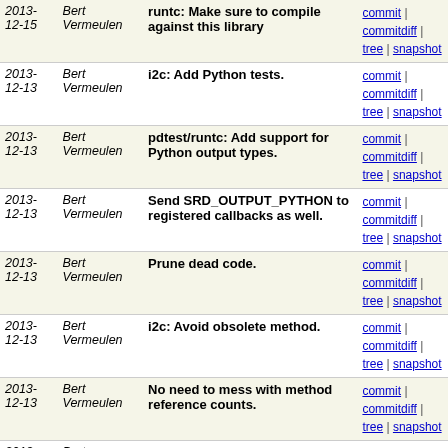| Date | Author | Commit message | Actions |
| --- | --- | --- | --- |
| 2013-12-15 | Bert Vermeulen | runtc: Make sure to compile against this library | commit | commitdiff | tree | snapshot |
| 2013-12-13 | Bert Vermeulen | i2c: Add Python tests. | commit | commitdiff | tree | snapshot |
| 2013-12-13 | Bert Vermeulen | pdtest/runtc: Add support for Python output types. | commit | commitdiff | tree | snapshot |
| 2013-12-13 | Bert Vermeulen | Send SRD_OUTPUT_PYTHON to registered callbacks as well. | commit | commitdiff | tree | snapshot |
| 2013-12-13 | Bert Vermeulen | Prune dead code. | commit | commitdiff | tree | snapshot |
| 2013-12-13 | Bert Vermeulen | i2c: Avoid obsolete method. | commit | commitdiff | tree | snapshot |
| 2013-12-13 | Bert Vermeulen | No need to mess with method reference counts. | commit | commitdiff | tree | snapshot |
| 2013-12-12 | Bert Vermeulen | i2c: Add binary tests. | commit | commitdiff | tree | snapshot |
| 2013-12-12 | Bert Vermeulen | pdtest/runtc: Add support for binary output types. | commit | commitdiff | tree | snapshot |
| 2013-12-12 | Bert Vermeulen | pdtest: Add -f option to automatically fix failing... | commit | commitdiff | tree | snapshot |
| 2013-12-12 | Bert Vermeulen | runtc: Add support for binary output. | commit | commitdiff | tree | snapshot |
| 2013-12-11 | Bert Vermeulen | Use new binary class definition format. | commit | commitdiff | tree | snapshot |
| 2013-12-11 | Bert Vermeulen | Binary classes are now defined as (name, description). | commit | commitdiff | tree | snapshot |